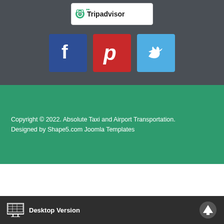[Figure (logo): Tripadvisor logo: green owl icon with 'Tripadvisor' text, white background box]
[Figure (logo): Facebook icon (dark blue square with white 'f'), Pinterest icon (red square with white 'p'), Twitter icon (light blue square with white bird)]
Copyright © 2022. Absolute Taxi and Airport Transportation. Designed by Shape5.com Joomla Templates
Desktop Version